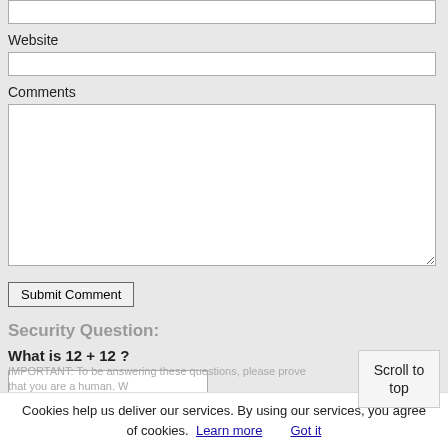Website
Comments
Submit Comment
Security Question:
What is 12 + 12 ?
IMPORTANT: To be answering these questions, please prove that you are a human. What...
Cookies help us deliver our services. By using our services, you agree of cookies.  Learn more   Got it
Scroll to top